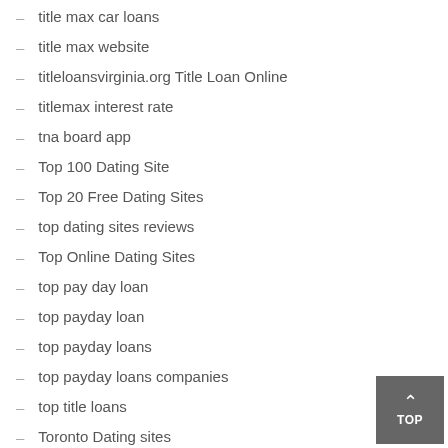title max car loans
title max website
titleloansvirginia.org Title Loan Online
titlemax interest rate
tna board app
Top 100 Dating Site
Top 20 Free Dating Sites
top dating sites reviews
Top Online Dating Sites
top pay day loan
top payday loan
top payday loans
top payday loans companies
top title loans
Toronto Dating sites